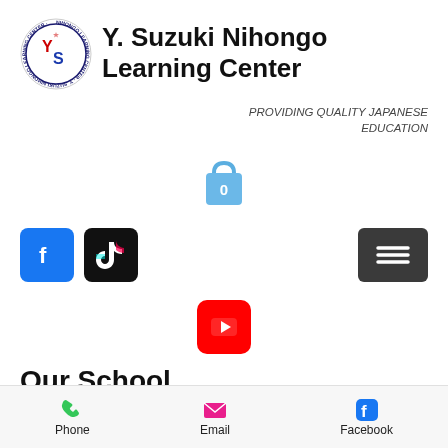[Figure (logo): Y. Suzuki Nihongo Learning Center circular logo with YS letters in red and blue]
Y. Suzuki Nihongo Learning Center
PROVIDING QUALITY JAPANESE EDUCATION
[Figure (illustration): Shopping bag icon with 0 badge in blue]
[Figure (logo): Facebook icon - blue square with white f]
[Figure (logo): TikTok icon - black square with TikTok logo]
[Figure (logo): Hamburger menu icon - dark grey square with three white lines]
[Figure (logo): YouTube icon - red rounded square with white play button]
Our School
[Figure (photo): Left photo showing Japanese katakana characters on whiteboard]
[Figure (photo): Right photo showing classroom or school interior]
[Figure (illustration): Phone icon in green]
Phone
[Figure (illustration): Email envelope icon in pink/magenta]
Email
[Figure (logo): Facebook icon in blue]
Facebook